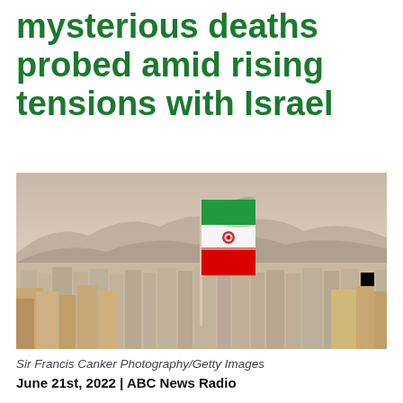mysterious deaths probed amid rising tensions with Israel
[Figure (photo): Aerial cityscape view with an Iranian flag on a flagpole in the foreground, city buildings and hazy mountains in the background]
Sir Francis Canker Photography/Getty Images
June 21st, 2022 | ABC News Radio